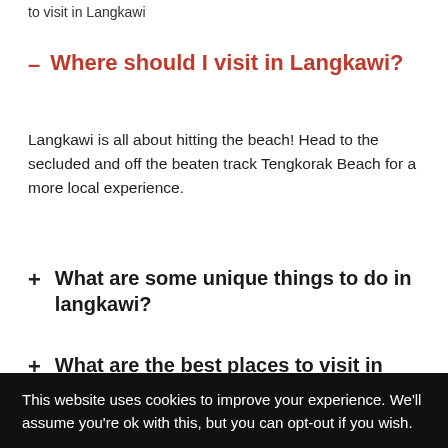to visit in Langkawi
Where should I visit in Langkawi?
Langkawi is all about hitting the beach! Head to the secluded and off the beaten track Tengkorak Beach for a more local experience.
What are some unique things to do in langkawi?
What are the best places to visit in Langkawi at night?
This website uses cookies to improve your experience. We'll assume you're ok with this, but you can opt-out if you wish.